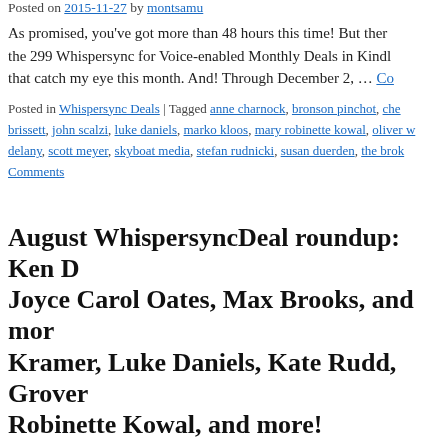Posted on 2015-11-27 by montsamu
As promised, you've got more than 48 hours this time! But there are the 299 Whispersync for Voice-enabled Monthly Deals in Kindle that catch my eye this month. And! Through December 2, … Continue reading
Posted in Whispersync Deals | Tagged anne charnock, bronson pinchot, cher brissett, john scalzi, luke daniels, marko kloos, mary robinette kowal, oliver w… delany, scott meyer, skyboat media, stefan rudnicki, susan duerden, the brok…
Comments
August WhispersyncDeal roundup: Ken B… Joyce Carol Oates, Max Brooks, and mor… Kramer, Luke Daniels, Kate Rudd, Grover… Robinette Kowal, and more!
Posted on 2015-08-27 by montsamu
I keep getting later and later in the month with these… so this ti… wait too long. The first two sections of deals all expire on Augu… through the… Continue reading